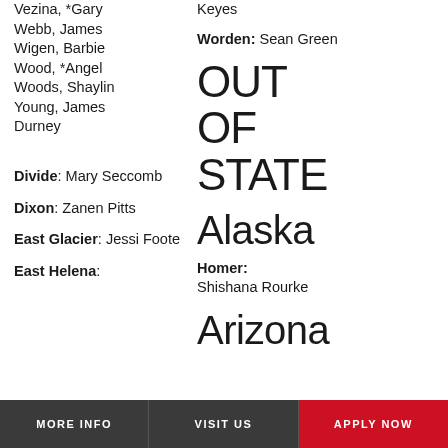Vezina, *Gary
Webb, James
Wigen, Barbie
Wood, *Angel
Woods, Shaylin
Young, James
Durney
Keyes
Worden: Sean Green
OUT OF STATE
Divide: Mary Seccomb
Alaska
Dixon: Zanen Pitts
Homer: Shishana Rourke
East Glacier: Jessi Foote
Arizona
East Helena:
MORE INFO   VISIT US   APPLY NOW